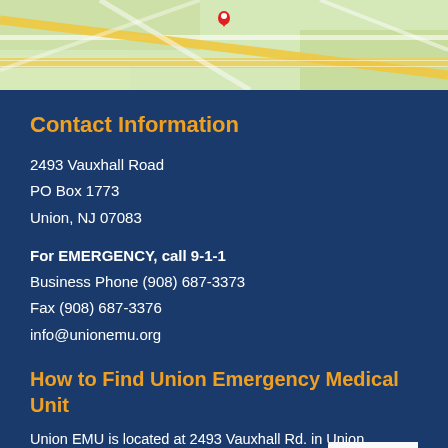[Figure (map): Google Maps view of Union, NJ area showing roads and a red location pin marker]
Contact Information
2493 Vauxhall Road
PO Box 1773
Union, NJ 07083
For EMERGENCY, call 9-1-1
Business Phone (908) 687-3373
Fax (908) 687-3376
info@unionemu.org
How to Find Union Emergency Medical Unit
Union EMU is located at 2493 Vauxhall Rd. in Union,
Our quarters are located in the rear of Union Fire
Department Station #2. A driveway on the right side of